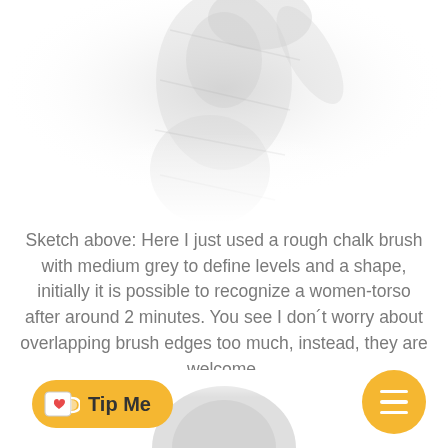[Figure (illustration): A faded greyscale sketch/illustration of a woman's torso, partially visible at the top of the page.]
Sketch above: Here I just used a rough chalk brush with medium grey to define levels and a shape, initially it is possible to recognize a women-torso after around 2 minutes. You see I don´t worry about overlapping brush edges too much, instead, they are welcome.
[Figure (photo): Bottom portion of a greyscale sketch of a person's head, partially visible at the bottom center of the page.]
[Figure (other): A yellow rounded-rectangle button labeled 'Tip Me' with a heart-in-cup icon.]
[Figure (other): A yellow circular menu button with three horizontal white lines (hamburger icon).]